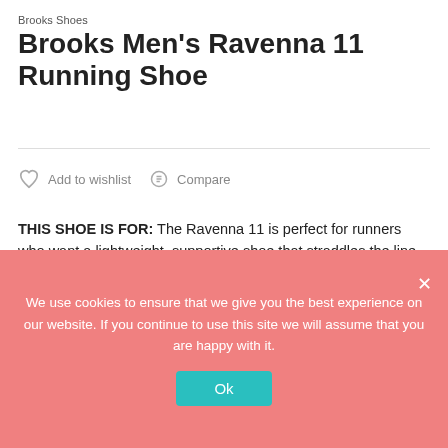Brooks Shoes
Brooks Men's Ravenna 11 Running Shoe
Add to wishlist   Compare
THIS SHOE IS FOR: The Ravenna 11 is perfect for runners who want a lightweight, supportive shoe that straddles the line between training and racing. SUPPORT AND CUSHION: Provides just the right amount of stability and support, great for overpronation while providing a
We use cookies to ensure that we give you the best experience on our website. If you continue to use this site we will assume that you are happy with it.